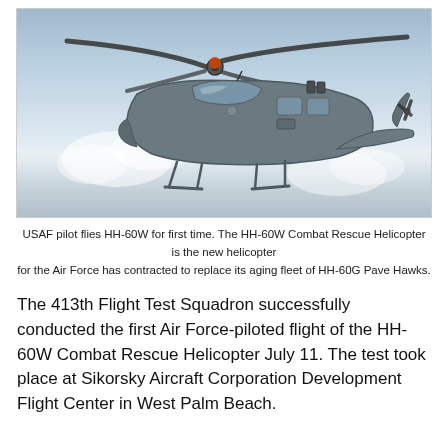[Figure (photo): A USAF HH-60W Combat Rescue Helicopter in flight against a light blue cloudy sky background. The helicopter is dark grey/military green, shown in profile flying to the right, with rotor blades visible at top and rear.]
USAF pilot flies HH-60W for first time. The HH-60W Combat Rescue Helicopter is the new helicopter for the Air Force has contracted to replace its aging fleet of HH-60G Pave Hawks.
The 413th Flight Test Squadron successfully conducted the first Air Force-piloted flight of the HH-60W Combat Rescue Helicopter July 11. The test took place at Sikorsky Aircraft Corporation Development Flight Center in West Palm Beach.